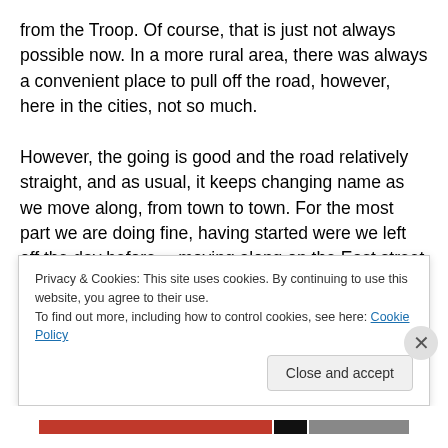from the Troop. Of course, that is just not always possible now. In a more rural area, there was always a convenient place to pull off the road, however, here in the cities, not so much.

However, the going is good and the road relatively straight, and as usual, it keeps changing name as we move along, from town to town. For the most part we are doing fine, having started were we left off the day before… moving along on the East street which is also the 27 road, it becomes Short street, and then after some time we turn onto Old Post Road, from there onto Pleasant, and then to
Privacy & Cookies: This site uses cookies. By continuing to use this website, you agree to their use.
To find out more, including how to control cookies, see here: Cookie Policy